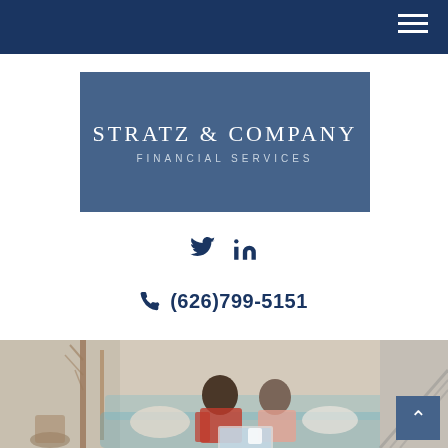Navigation bar with hamburger menu
[Figure (logo): Stratz & Company Financial Services logo on blue-grey rectangle background]
Twitter and LinkedIn social media icons
(626)799-5151
[Figure (photo): Older couple sitting on a couch looking at a laptop together, smiling, in a bright living room]